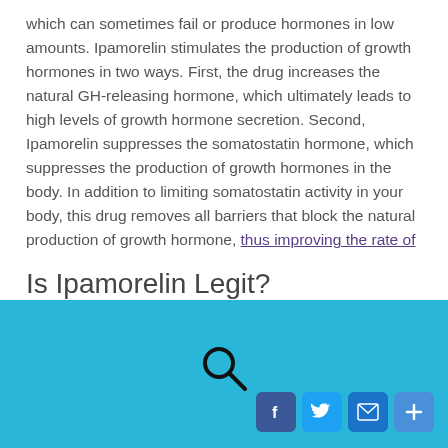which can sometimes fail or produce hormones in low amounts. Ipamorelin stimulates the production of growth hormones in two ways. First, the drug increases the natural GH-releasing hormone, which ultimately leads to high levels of growth hormone secretion. Second, Ipamorelin suppresses the somatostatin hormone, which suppresses the production of growth hormones in the body. In addition to limiting somatostatin activity in your body, this drug removes all barriers that block the natural production of growth hormone, thus improving the rate of growth hormone production.
Is Ipamorelin Legit?
[search icon] [Facebook] [Twitter] [Email] [Share]